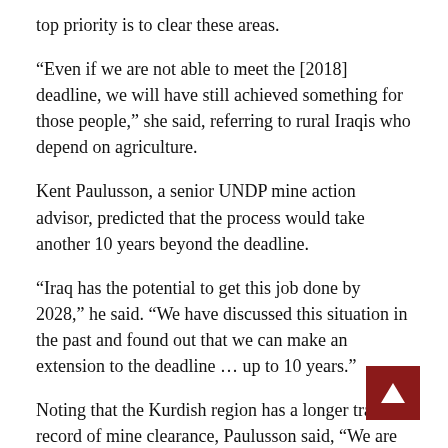top priority is to clear these areas.
“Even if we are not able to meet the [2018] deadline, we will have still achieved something for those people,” she said, referring to rural Iraqis who depend on agriculture.
Kent Paulusson, a senior UNDP mine action advisor, predicted that the process would take another 10 years beyond the deadline.
“Iraq has the potential to get this job done by 2028,” he said. “We have discussed this situation in the past and found out that we can make an extension to the deadline … up to 10 years.”
Noting that the Kurdish region has a longer track record of mine clearance, Paulusson said, “We are trying to coordinate the work done by Kurdistan with central government. In Kurdistan, people have experience, and it would be good they shared that experience with the rest of Iraq.”